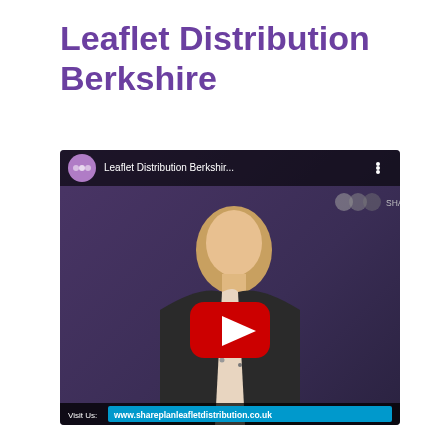Leaflet Distribution Berkshire
[Figure (screenshot): YouTube video thumbnail showing a woman with blonde hair speaking in front of a purple background. The video title reads 'Leaflet Distribution Berkshir...' with a red YouTube play button in the center. Bottom banner shows 'Visit Us: www.shareplanleafletdistribution.co.uk'. Top right shows 'SHAREPlan' branding.]